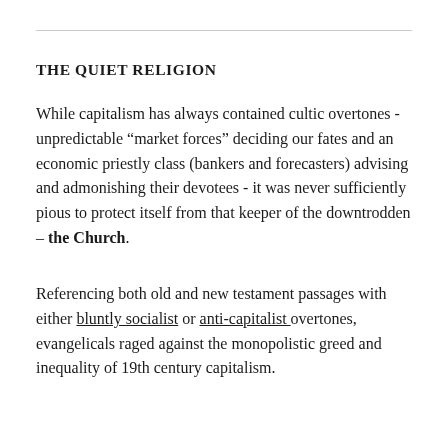THE QUIET RELIGION
While capitalism has always contained cultic overtones - unpredictable “market forces” deciding our fates and an economic priestly class (bankers and forecasters) advising and admonishing their devotees - it was never sufficiently pious to protect itself from that keeper of the downtrodden – the Church.
Referencing both old and new testament passages with either bluntly socialist or anti-capitalist overtones, evangelicals raged against the monopolistic greed and inequality of 19th century capitalism.
...